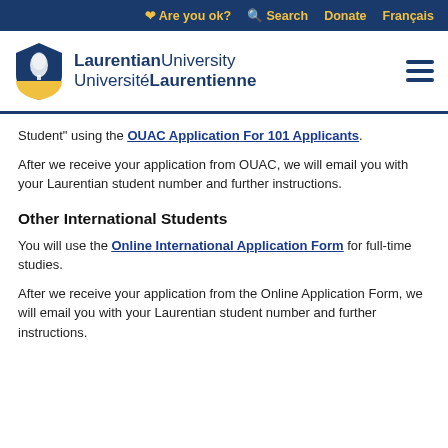Are you ok?  Search  Donate  Français
[Figure (logo): Laurentian University / Université Laurentienne shield logo with text]
Student" using the OUAC Application For 101 Applicants.
After we receive your application from OUAC, we will email you with your Laurentian student number and further instructions.
Other International Students
You will use the Online International Application Form for full-time studies.
After we receive your application from the Online Application Form, we will email you with your Laurentian student number and further instructions.